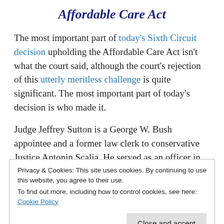Affordable Care Act
The most important part of today's Sixth Circuit decision upholding the Affordable Care Act isn't what the court said, although the court's rejection of this utterly meritless challenge is quite significant. The most important part of today's decision is who made it.
Judge Jeffrey Sutton is a George W. Bush appointee and a former law clerk to conservative Justice Antonin Scalia. He served as an officer in the conservative Federalist Society's Federalism and Separation of Powers practice group, and
Privacy & Cookies: This site uses cookies. By continuing to use this website, you agree to their use.
To find out more, including how to control cookies, see here: Cookie Policy
from holding states accountable in federal court — even